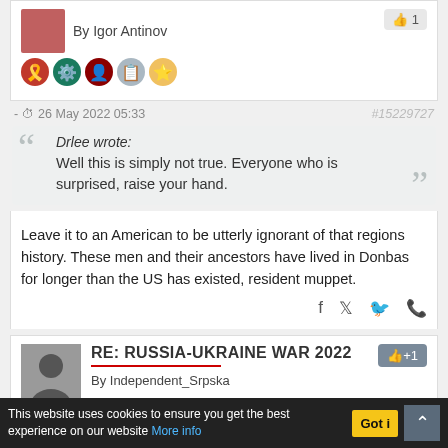By Igor Antinov
- 26 May 2022 05:33   #15229727
Drlee wrote: Well this is simply not true. Everyone who is surprised, raise your hand.
Leave it to an American to be utterly ignorant of that regions history. These men and their ancestors have lived in Donbas for longer than the US has existed, resident muppet.
RE: RUSSIA-UKRAINE WAR 2022
By Independent_Srpska
This website uses cookies to ensure you get the best experience on our website More info